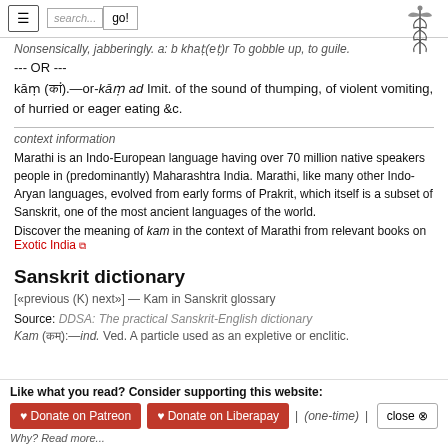search... go!
Nonsensically, jabberingly. a: b khaṭ(eṭ)r To gobble up, to guile.
--- OR ---
kāṃ (कां).—or-kāṃad Imit. of the sound of thumping, of violent vomiting, of hurried or eager eating &c.
context information
Marathi is an Indo-European language having over 70 million native speakers people in (predominantly) Maharashtra India. Marathi, like many other Indo-Aryan languages, evolved from early forms of Prakrit, which itself is a subset of Sanskrit, one of the most ancient languages of the world.
Discover the meaning of kam in the context of Marathi from relevant books on Exotic India
Sanskrit dictionary
[«previous (K) next»] — Kam in Sanskrit glossary
Source: DDSA: The practical Sanskrit-English dictionary
Kam (कम्):—ind. Ved. A particle used as an expletive or enclitic.
Like what you read? Consider supporting this website:
♥ Donate on Patreon   ♥ Donate on Liberapay   | (one-time) |   close ⊗
Why? Read more...